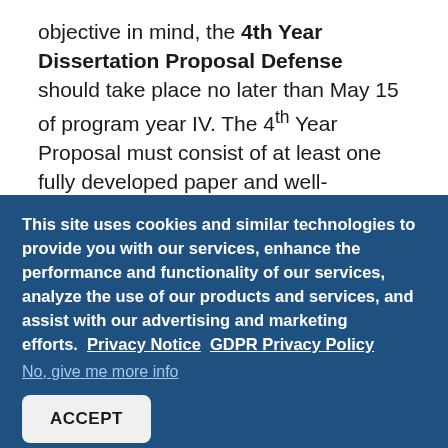objective in mind, the 4th Year Dissertation Proposal Defense should take place no later than May 15 of program year IV. The 4th Year Proposal must consist of at least one fully developed paper and well-developed drafts of the rest of the dissertation. A successful 4th Ye...
This site uses cookies and similar technologies to provide you with our services, enhance the performance and functionality of our services, analyze the use of our products and services, and assist with our advertising and marketing efforts.  Privacy Notice  GDPR Privacy Policy
No, give me more info
ACCEPT